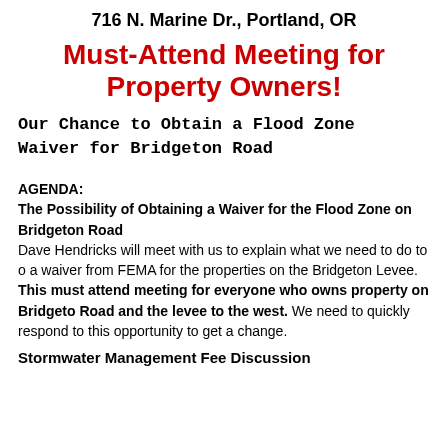716 N. Marine Dr., Portland, OR
Must-Attend Meeting for Property Owners!
Our Chance to Obtain a Flood Zone Waiver for Bridgeton Road
AGENDA:
The Possibility of Obtaining a Waiver for the Flood Zone on Bridgeton Road
Dave Hendricks will meet with us to explain what we need to do to obtain a waiver from FEMA for the properties on the Bridgeton Levee. This is a must attend meeting for everyone who owns property on Bridgeton Road and the levee to the west. We need to quickly respond to this opportunity to get a change.
Stormwater Management Fee Discussion